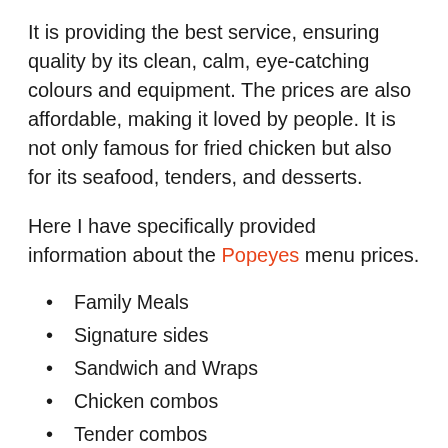It is providing the best service, ensuring quality by its clean, calm, eye-catching colours and equipment. The prices are also affordable, making it loved by people. It is not only famous for fried chicken but also for its seafood, tenders, and desserts.
Here I have specifically provided information about the Popeyes menu prices.
Family Meals
Signature sides
Sandwich and Wraps
Chicken combos
Tender combos
Seafood
Kid's meal
Dessert